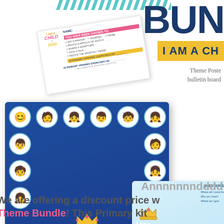[Figure (photo): Product bundle image showing 'I Am a Child of God' Primary theme materials: a card/worksheet, a dark blue poster with children's faces in circles and the title 'I Am a Child of God', and a light blue illustrated poster with the same title. Diagonal teal and white stripe pattern visible at top.]
BUN
I AM A CH
Theme Poste
bulletin board
Annnnnnndddd
We are offering a discount price w
Theme Bundle! This Primary kit